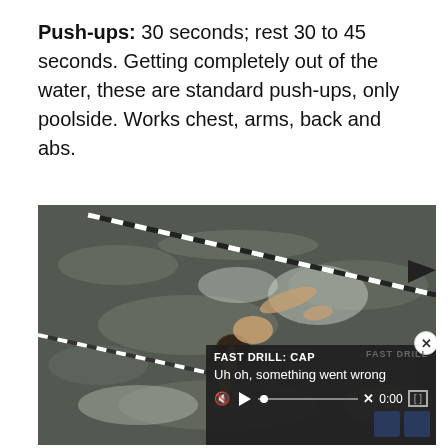Push-ups: 30 seconds; rest 30 to 45 seconds. Getting completely out of the water, these are standard push-ups, only poolside. Works chest, arms, back and abs.
[Figure (photo): Aerial view of a swimmer in a pool with lane markers visible. A video player overlay in the bottom-right shows 'FAST DRILL: CAP' title and 'Uh oh, something went wrong' error message with playback controls at 0:00.]